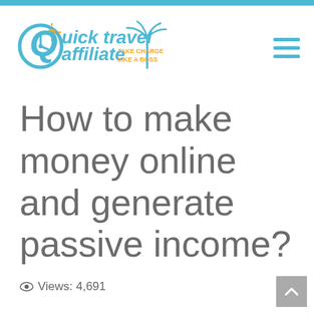[Figure (logo): Quick Travel Affiliate logo with clock icon, palm tree, and tagline 'TAKE CHARGE LIKE A BOSS']
How to make money online and generate passive income?
Views: 4,691